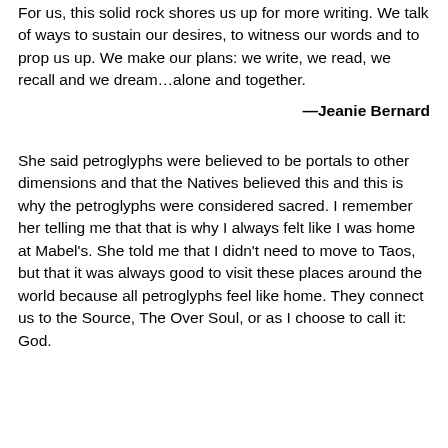For us, this solid rock shores us up for more writing. We talk of ways to sustain our desires, to witness our words and to prop us up. We make our plans: we write, we read, we recall and we dream…alone and together.
—Jeanie Bernard
She said petroglyphs were believed to be portals to other dimensions and that the Natives believed this and this is why the petroglyphs were considered sacred. I remember her telling me that that is why I always felt like I was home at Mabel's. She told me that I didn't need to move to Taos, but that it was always good to visit these places around the world because all petroglyphs feel like home. They connect us to the Source, The Over Soul, or as I choose to call it: God.